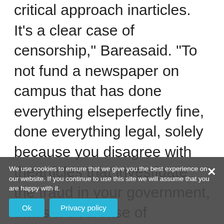critical approach inarticles. It's a clear case of censorship," Bareasaid. "To not fund a newspaper on campus that has done everything elseperfectly fine, done everything legal, solely because you disagree with thearticles that investigate the fraud in your government, that's a clearcase of censorship."Each SUNY-Albany student pays an $80 fee persemester to the Central Council, which then divvies up the resulting $1.7million budget. The College Standard, founded in September, is one ofmore than 150 student organizations for which the Central Council determinesfunding. Jamie MacNamara, council chairperson, said although groups are notoften denied funds, it was necessary in this situation."[Thepaper] has a tendency to misquote people," MacNamara said. "I haveread where there are happy with ities printed in it as well," he said.In 2000, the U.S. Supreme Court ruled that universities which use studentfees to fund campus
We use cookies to ensure that we give you the best experience on our website. If you continue to use this site we will assume that you are happy with it.